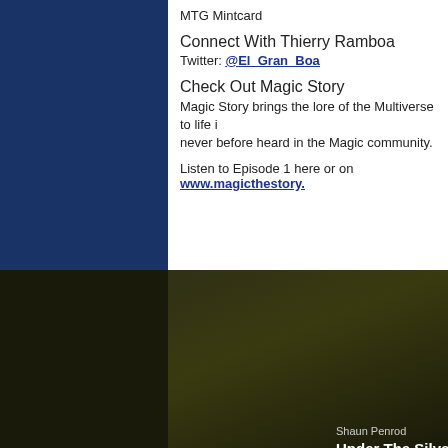MTG Mintcard
Connect With Thierry Ramboa
Twitter: @El_Gran_Boa
Check Out Magic Story
Magic Story brings the lore of the Multiverse to life i never before heard in the Magic community.
Listen to Episode 1 here or on www.magicthestory...
[Figure (screenshot): Magic Story podcast artwork showing a bird/phoenix logo, yellow text reading MAGIC STORY, A FULL CAST READING OF FANTASY FICTION, with Shaun Penrod and Under The Silver Moon text below on dark background]